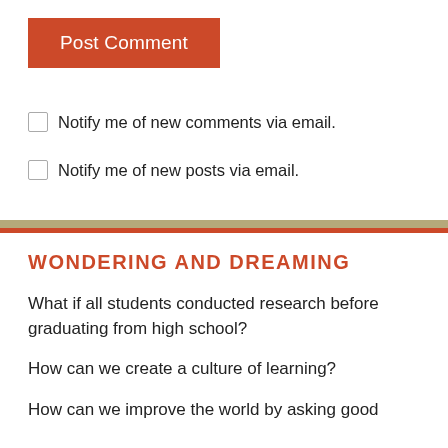Post Comment
Notify me of new comments via email.
Notify me of new posts via email.
WONDERING AND DREAMING
What if all students conducted research before graduating from high school?
How can we create a culture of learning?
How can we improve the world by asking good